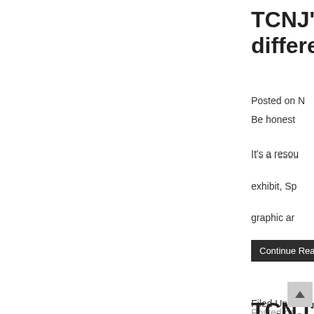TCNJ's s... differen...
Posted on N... Be honest...
It's a resou...
exhibit, Sp...
graphic ar...
Continue Rea...
Filed Under...
TCNJ's s... differen...
Posted on...